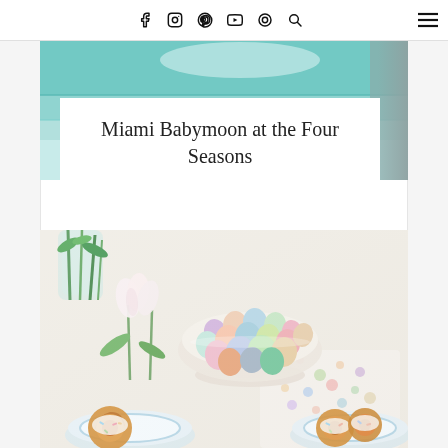Social media icons: Facebook, Instagram, Pinterest, YouTube, Bloglovin, Search, Menu
[Figure (photo): Top portion of a bright teal/turquoise poolside or outdoor scene visible above the title card]
Miami Babymoon at the Four Seasons
[Figure (photo): Overhead flatlay photo showing a bowl filled with colorful pastel Easter eggs, white tulips, green plant stems in glass vase, light blue patterned plates with glazed cinnamon rolls with sprinkles, and a watercolor-dot placemat on a white table]